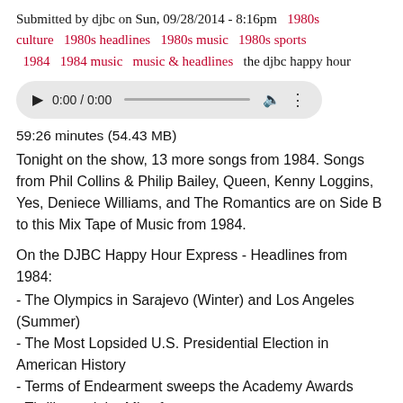Submitted by djbc on Sun, 09/28/2014 - 8:16pm   1980s culture   1980s headlines   1980s music   1980s sports   1984   1984 music   music & headlines   the djbc happy hour
[Figure (other): Audio player widget showing 0:00 / 0:00 with play button, progress bar, volume and more icons]
59:26 minutes (54.43 MB)
Tonight on the show, 13 more songs from 1984. Songs from Phil Collins & Philip Bailey, Queen, Kenny Loggins, Yes, Deniece Williams, and The Romantics are on Side B to this Mix Tape of Music from 1984.
On the DJBC Happy Hour Express - Headlines from 1984:
- The Olympics in Sarajevo (Winter) and Los Angeles (Summer)
- The Most Lopsided U.S. Presidential Election in American History
- Terms of Endearment sweeps the Academy Awards
- Thriller and the Mix of ...